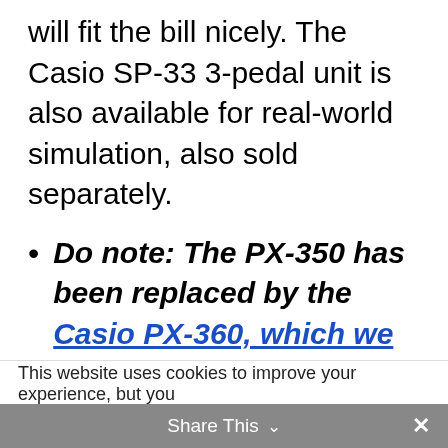will fit the bill nicely. The Casio SP-33 3-pedal unit is also available for real-world simulation, also sold separately.
Do note: The PX-350 has been replaced by the Casio PX-360, which we have reviewed.
This website uses cookies to improve your experience, but you
Share This